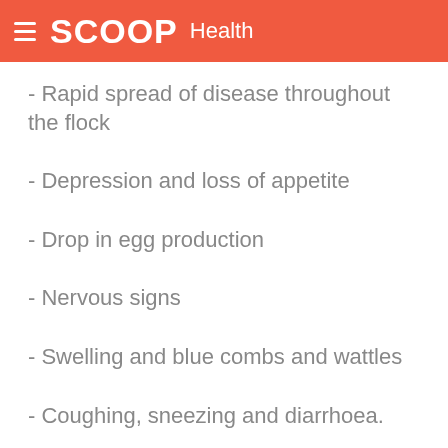SCOOP Health
- Rapid spread of disease throughout the flock
- Depression and loss of appetite
- Drop in egg production
- Nervous signs
- Swelling and blue combs and wattles
- Coughing, sneezing and diarrhoea.